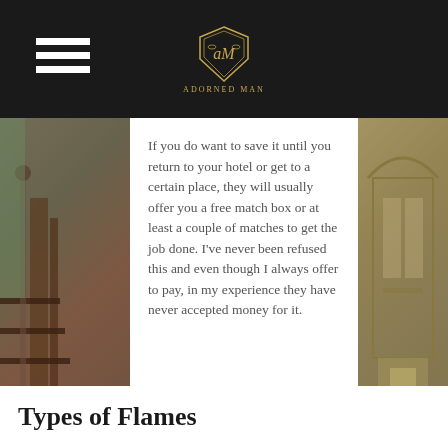ADORNED MAN
If you do want to save it until you return to your hotel or get to a certain place, they will usually offer you a free match box or at least a couple of matches to get the job done. I've never been refused this and even though I always offer to pay, in my experience they have never accepted money for it.
Types of Flames